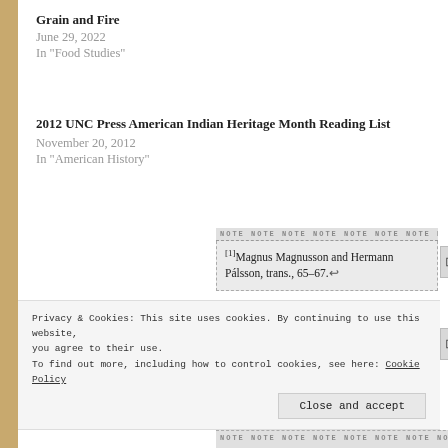Grain and Fire
June 29, 2022
In "Food Studies"
2012 UNC Press American Indian Heritage Month Reading List
November 20, 2012
In "American History"
[1]Magnus Magnusson and Hermann Pálsson, trans., 65–67.↩
[2]Ibid., 102.↩
Privacy & Cookies: This site uses cookies. By continuing to use this website, you agree to their use. To find out more, including how to control cookies, see here: Cookie Policy